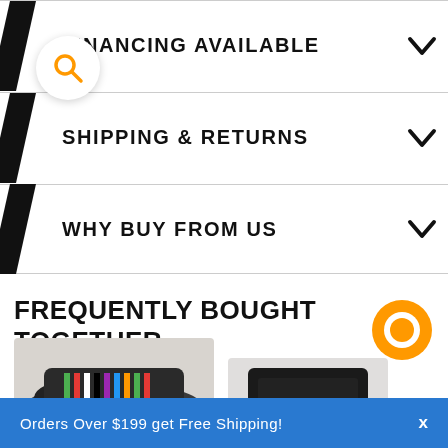[Figure (illustration): Orange magnifying glass search icon on white circular background, top-left overlay]
FINANCING AVAILABLE
SHIPPING & RETURNS
WHY BUY FROM US
FREQUENTLY BOUGHT TOGETHER
[Figure (photo): Wire harness connector product photo (left) and black electronic module product photo (right)]
[Figure (illustration): Orange circular chat/message icon, right side]
Orders Over $199 get Free Shipping!   x